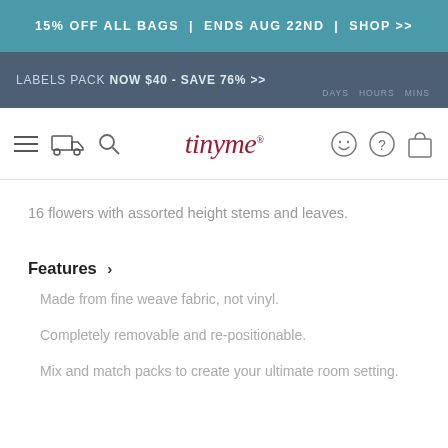15% OFF ALL BAGS | ENDS AUG 22ND | SHOP >>
LABELS PACK NOW $40 - SAVE 76% >> DAYS HOURS MINS
[Figure (screenshot): tinyme website navigation bar with hamburger menu, truck icon, search icon, tinyme logo in red, smiley face icon, question mark icon, and shopping bag icon]
16 flowers with assorted height stems and leaves.
Features >
Made from fine weave fabric, not vinyl.
Completely removable and re-positionable.
Mix and match packs to create your ultimate room setting.